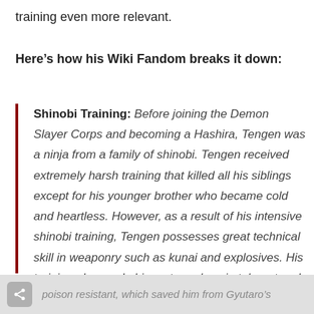training even more relevant.
Here’s how his Wiki Fandom breaks it down:
Shinobi Training: Before joining the Demon Slayer Corps and becoming a Hashira, Tengen was a ninja from a family of shinobi. Tengen received extremely harsh training that killed all his siblings except for his younger brother who became cold and heartless. However, as a result of his intensive shinobi training, Tengen possesses great technical skill in weaponry such as kunai and explosives. His training also made him extremely pain tolerant and
poison resistant, which saved him from Gyutaro’s